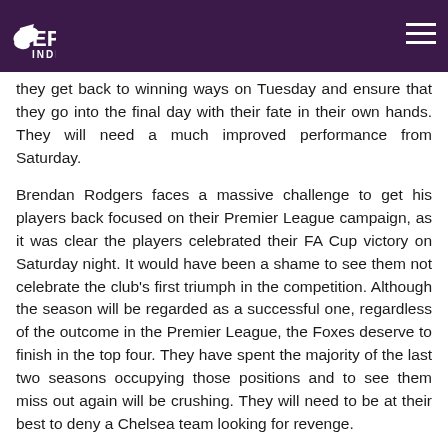EPL Index
they get back to winning ways on Tuesday and ensure that they go into the final day with their fate in their own hands. They will need a much improved performance from Saturday.
Brendan Rodgers faces a massive challenge to get his players back focused on their Premier League campaign, as it was clear the players celebrated their FA Cup victory on Saturday night. It would have been a shame to see them not celebrate the club's first triumph in the competition. Although the season will be regarded as a successful one, regardless of the outcome in the Premier League, the Foxes deserve to finish in the top four. They have spent the majority of the last two seasons occupying those positions and to see them miss out again will be crushing. They will need to be at their best to deny a Chelsea team looking for revenge.
INTERESTING STATS